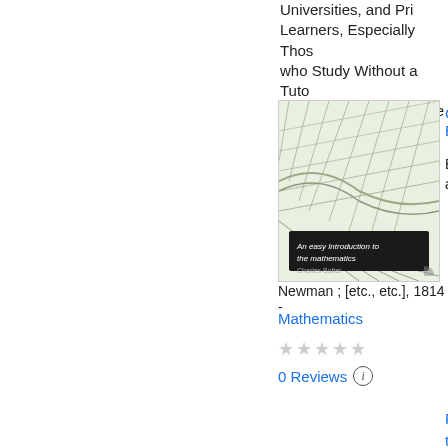Universities, and Private Learners, Especially Those who Study Without a Tutor. In Two Volumes, Volume ...
[Figure (photo): Book cover of 'An easy Introduction to the mathematics' by Charles Butler, showing a green-tinted topographic or land map illustration]
Charles Butler
Bartlett and and
Newman ; [etc., etc.], 1814 -
Mathematics
★★★★★
0 Reviews ⓘ
Preview this